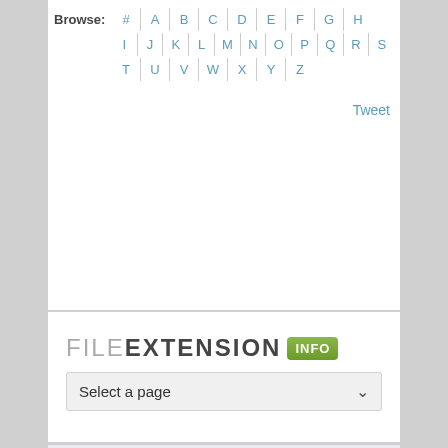Browse: # A B C D E F G H I J K L M N O P Q R S T U V W X Y Z
Tweet
[Figure (logo): FILE EXTENSION INFO logo with green INFO badge]
Select a page
How to open file with .CXL extension?
Don't you know what program to use to convert the .CXL file? Do you want to convert a .CXL file into a different format? Below you will find